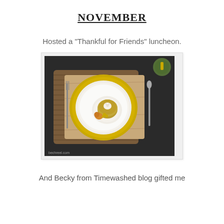NOVEMBER
Hosted a "Thankful for Friends" luncheon.
[Figure (photo): Overhead view of an elegant table setting with a gold-rimmed decorative plate, stacked white plates, a cup of soup topped with cream on a saucer, an autumn leaf garnish, a brown woven placemat, fork on the left, spoon on the right, and a green glass in the upper right corner. Watermark reads 'bechreel.com'.]
And Becky from Timewashed blog gifted me